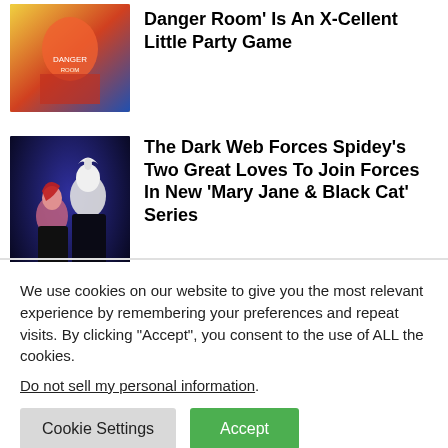[Figure (photo): Comic book style artwork thumbnail for X-Men Danger Room article]
Danger Room' Is An X-Cellent Little Party Game
[Figure (photo): Comic book style artwork showing Mary Jane and Black Cat characters]
The Dark Web Forces Spidey's Two Great Loves To Join Forces In New 'Mary Jane & Black Cat' Series
We use cookies on our website to give you the most relevant experience by remembering your preferences and repeat visits. By clicking “Accept”, you consent to the use of ALL the cookies.
Do not sell my personal information.
Cookie Settings
Accept